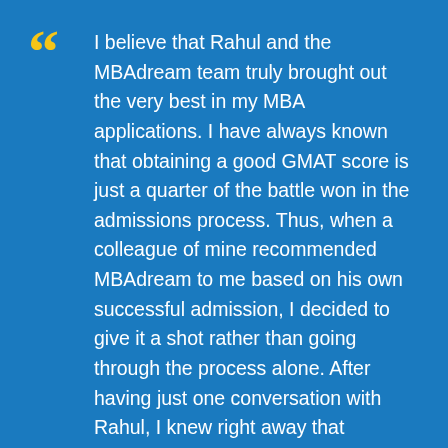I believe that Rahul and the MBAdream team truly brought out the very best in my MBA applications. I have always known that obtaining a good GMAT score is just a quarter of the battle won in the admissions process. Thus, when a colleague of mine recommended MBAdream to me based on his own successful admission, I decided to give it a shot rather than going through the process alone. After having just one conversation with Rahul, I knew right away that MBAdream was the right path for me.
Rahul exhibited extreme patience and savvy to get to know my background, in terms of personal, career and extracurricular, in the minutest detail and to then diligently frame my application in the strongest and outstanding way possible. In fact, when Rahul and I were done with our first "career and goals" essay, I was